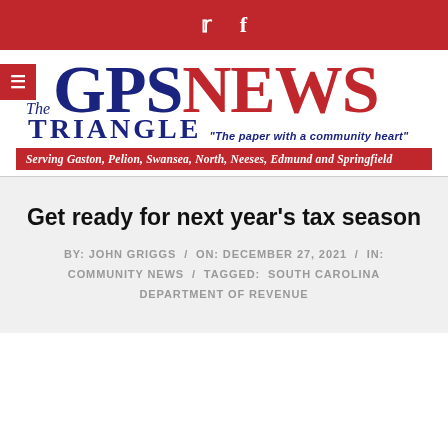Twitter and Facebook social icons
The GPS NEWS TRIANGLE "The paper with a community heart"
Serving Gaston, Pelion, Swansea, North, Neeses, Edmund and Springfield
Get ready for next year's tax season
BY: JOHN GRIGGS / ON: DECEMBER 27, 2021 / IN: COMMUNITY NEWS / TAGGED: SOUTH CAROLINA DEPARTMENT OF REVENUE